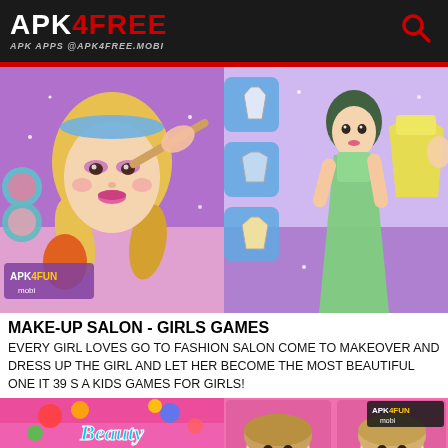APK4FREE — APK APPS @APK4FREE.MOBI
[Figure (screenshot): Make-up salon game screenshot split into two panels: left panel shows a blonde anime-style girl getting makeup applied with a brush in a salon setting with APK4FUN mobi watermark; right panel shows a dress-up game with a green-gown character and clothing options on a purple background]
MAKE-UP SALON - GIRLS GAMES
EVERY GIRL LOVES GO TO FASHION SALON COME TO MAKEOVER AND DRESS UP THE GIRL AND LET HER BECOME THE MOST BEAUTIFUL ONE IT 39 S A KIDS GAMES FOR GIRLS!
[Figure (screenshot): Beauty Salon game screenshot showing a blonde girl with red headband and 'Beauty Salon' stylized text on a colorful pink/rainbow background]
[Figure (screenshot): Hair makeover game screenshot showing two side-by-side before/after images of a blonde woman with different hairstyles on a pink background, APK4FUN mobi watermark visible]